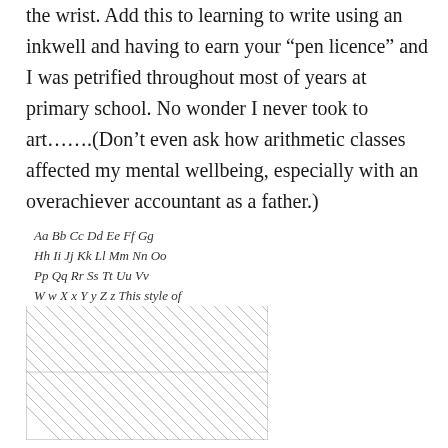the wrist. Add this to learning to write using an inkwell and having to earn your “pen licence” and I was petrified throughout most of years at primary school. No wonder I never took to art…….(Don’t even ask how arithmetic classes affected my mental wellbeing, especially with an overachiever accountant as a father.)
[Figure (illustration): A handwriting practice sheet showing cursive alphabet letters (Aa Bb Cc Dd Ee Ff Gg Hh Ii Jj Kk Ll Mm Nn Oo Pp Qq Rr Ss Tt Uu Vv and W w X x Y y Z z This style of) in the upper portion, followed by diagonal line guides filling the lower two-thirds of the sheet, with a horizontal dividing line roughly in the middle of the guide section.]